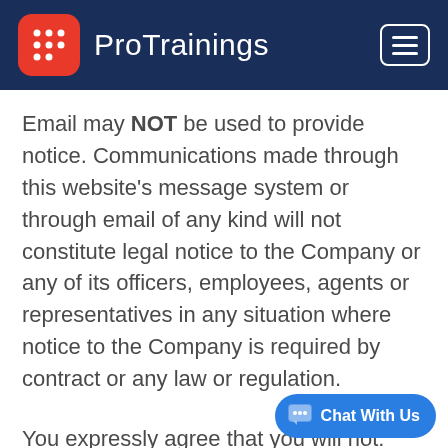ProTrainings
Email may NOT be used to provide notice. Communications made through this website's message system or through email of any kind will not constitute legal notice to the Company or any of its officers, employees, agents or representatives in any situation where notice to the Company is required by contract or any law or regulation.
You expressly agree that you will not: